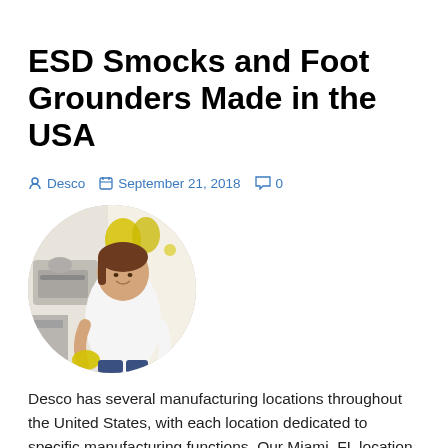ESD Smocks and Foot Grounders Made in the USA
Desco   September 21, 2018   0
[Figure (photo): A woman seated at a sewing machine in a manufacturing facility, working with yellow ESD foot grounders. She is smiling and wearing a white top, with sewing equipment visible in the background. The photo is cropped in a circle.]
Desco has several manufacturing locations throughout the United States, with each location dedicated to specific manufacturing functions. Our Miami, FL location is the heart of our sewing operation in the United States. Here is some of what we made this past week! Smocks Workstation Covers Field Service Kits Foot Grounders